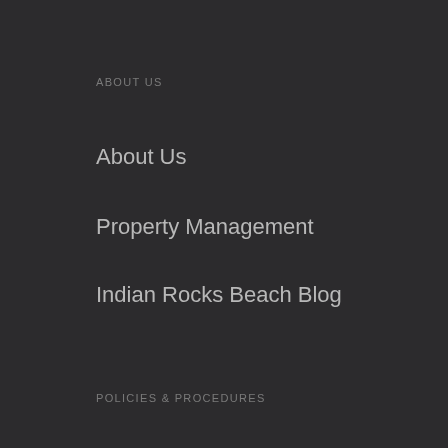ABOUT US
About Us
Property Management
Indian Rocks Beach Blog
POLICIES & PROCEDURES
Terms & Conditions
Check In Information
PreFlight Checklist